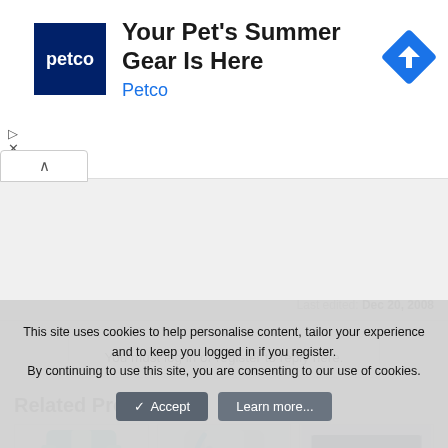[Figure (screenshot): Petco advertisement banner with logo, title 'Your Pet's Summer Gear Is Here', subtitle 'Petco', and a blue diamond navigation icon]
Last edited: Dec 20, 2008
You must log in or register to reply here.
Related Products
[Figure (photo): Three product images showing running vests and socks]
This site uses cookies to help personalise content, tailor your experience and to keep you logged in if you register. By continuing to use this site, you are consenting to our use of cookies.